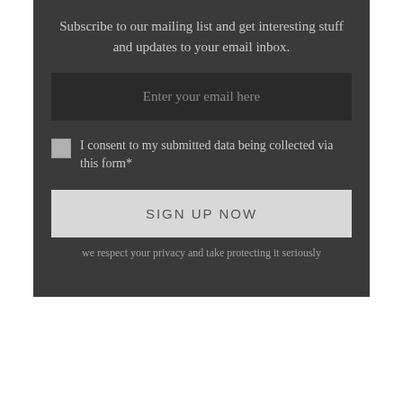Subscribe to our mailing list and get interesting stuff and updates to your email inbox.
Enter your email here
I consent to my submitted data being collected via this form*
SIGN UP NOW
we respect your privacy and take protecting it seriously